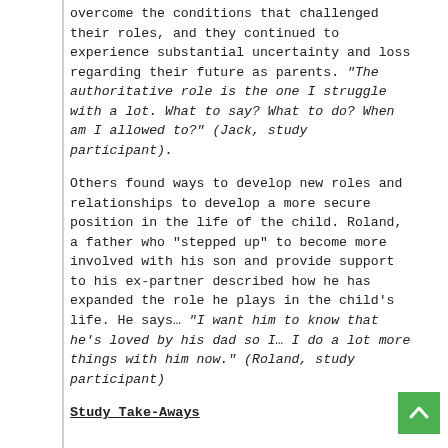overcome the conditions that challenged their roles, and they continued to experience substantial uncertainty and loss regarding their future as parents. "The authoritative role is the one I struggle with a lot. What to say? What to do? When am I allowed to?" (Jack, study participant).
Others found ways to develop new roles and relationships to develop a more secure position in the life of the child. Roland, a father who “stepped up” to become more involved with his son and provide support to his ex-partner described how he has expanded the role he plays in the child’s life. He says… "I want him to know that he’s loved by his dad so I… I do a lot more things with him now." (Roland, study participant)
Study Take-Aways